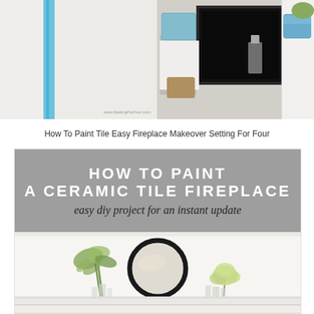[Figure (photo): Two before/after photos of a tile fireplace makeover — left shows white wall with blue painter's tape, right shows a cozy fireplace scene with dark firebox, cushions, and white trim]
How To Paint Tile Easy Fireplace Makeover Setting For Four
[Figure (infographic): DIY home decor graphic with gray banner text reading 'HOW TO PAINT A CERAMIC TILE FIREPLACE' and script subtitle 'easy diy project for an instant update', below which is a styled mantel photo with a round black mirror, greenery, and glass vases on a white mantel shelf]